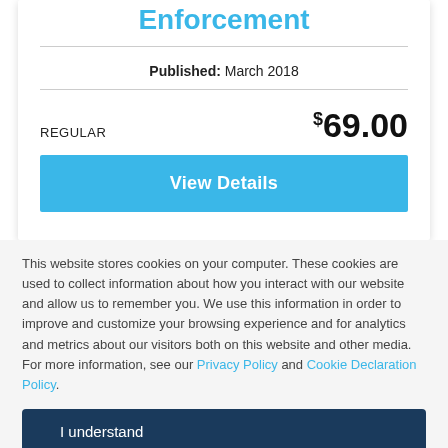Enforcement
Published: March 2018
REGULAR   $69.00
View Details
This website stores cookies on your computer. These cookies are used to collect information about how you interact with our website and allow us to remember you. We use this information in order to improve and customize your browsing experience and for analytics and metrics about our visitors both on this website and other media. For more information, see our Privacy Policy and Cookie Declaration Policy.
I understand